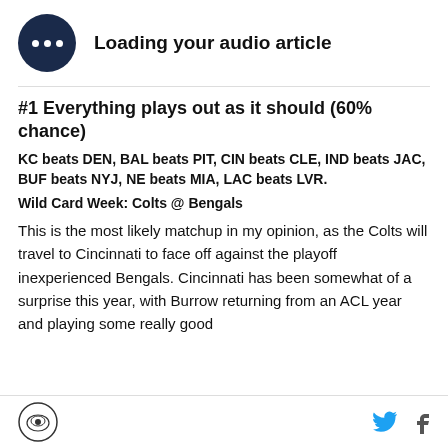[Figure (other): Audio player icon — dark navy circle with three white dots, labeled 'Loading your audio article']
#1 Everything plays out as it should (60% chance)
KC beats DEN, BAL beats PIT, CIN beats CLE, IND beats JAC, BUF beats NYJ, NE beats MIA, LAC beats LVR.
Wild Card Week: Colts @ Bengals
This is the most likely matchup in my opinion, as the Colts will travel to Cincinnati to face off against the playoff inexperienced Bengals. Cincinnati has been somewhat of a surprise this year, with Burrow returning from an ACL year and playing some really good
Logo | Twitter | Facebook